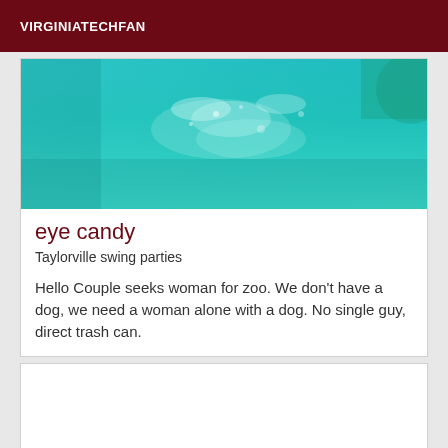VIRGINIATECHFAN
[Figure (photo): Aerial or underwater view of turquoise/teal water with light reflections on the surface]
eye candy
Taylorville swing parties
Hello Couple seeks woman for zoo. We don't have a dog, we need a woman alone with a dog. No single guy, direct trash can.